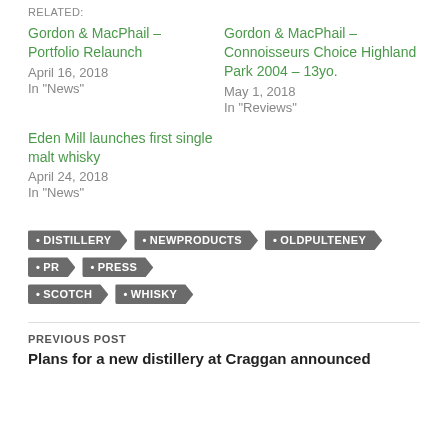RELATED:
Gordon & MacPhail – Portfolio Relaunch
April 16, 2018
In "News"
Gordon & MacPhail – Connoisseurs Choice Highland Park 2004 – 13yo.
May 1, 2018
In "Reviews"
Eden Mill launches first single malt whisky
April 24, 2018
In "News"
DISTILLERY • NEWPRODUCTS • OLDPULTENEY • PR • PRESS • SCOTCH • WHISKY
PREVIOUS POST
Plans for a new distillery at Craggan announced